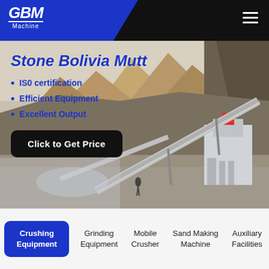GBM Machine
[Figure (photo): Industrial stone crushing plant with conveyor belts and machinery set against a mountain backdrop in Bolivia]
Stone Bolivia Mutt
IS0 certification
Efficient Equipment
Excellent Output
Click to Get Price
Crushing Equipment | Grinding Equipment | Mobile Crusher | Sand Making Machine | Auxiliary Facilities